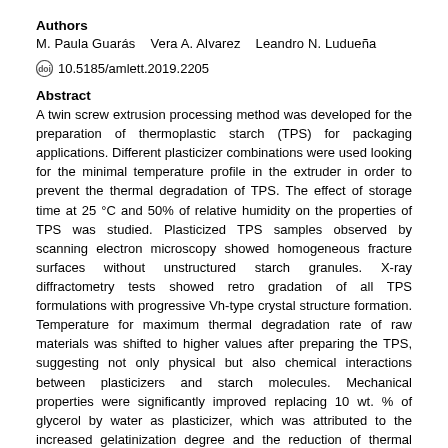Authors
M. Paula Guarás    Vera A. Alvarez    Leandro N. Ludueña
doi 10.5185/amlett.2019.2205
Abstract
A twin screw extrusion processing method was developed for the preparation of thermoplastic starch (TPS) for packaging applications. Different plasticizer combinations were used looking for the minimal temperature profile in the extruder in order to prevent the thermal degradation of TPS. The effect of storage time at 25 °C and 50% of relative humidity on the properties of TPS was studied. Plasticized TPS samples observed by scanning electron microscopy showed homogeneous fracture surfaces without unstructured starch granules. X-ray diffractometry tests showed retro gradation of all TPS formulations with progressive Vh-type crystal structure formation. Temperature for maximum thermal degradation rate of raw materials was shifted to higher values after preparing the TPS, suggesting not only physical but also chemical interactions between plasticizers and starch molecules. Mechanical properties were significantly improved replacing 10 wt. % of glycerol by water as plasticizer, which was attributed to the increased gelatinization degree and the reduction of thermal degradation.